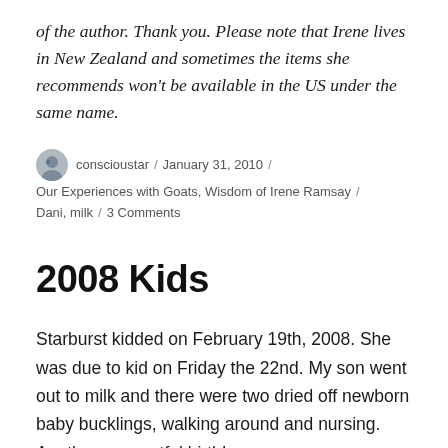of the author. Thank you. Please note that Irene lives in New Zealand and sometimes the items she recommends won't be available in the US under the same name.
conscioustar / January 31, 2010 / Our Experiences with Goats, Wisdom of Irene Ramsay / Dani, milk / 3 Comments
2008 Kids
Starburst kidded on February 19th, 2008. She was due to kid on Friday the 22nd. My son went out to milk and there were two dried off newborn baby bucklings, walking around and nursing. Another uneventful birth!